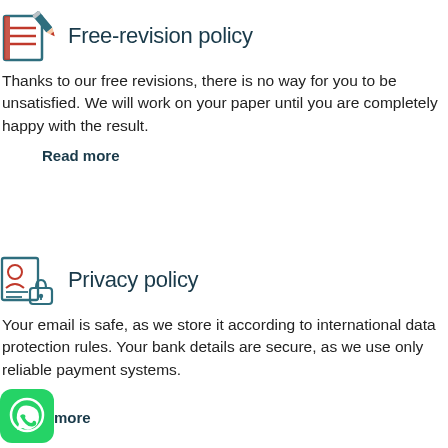[Figure (illustration): Red and dark teal icon of a notebook/paper with a pencil, representing free-revision policy]
Free-revision policy
Thanks to our free revisions, there is no way for you to be unsatisfied. We will work on your paper until you are completely happy with the result.
Read more
[Figure (illustration): Red and teal icon of a document with a person silhouette and a padlock, representing privacy policy]
Privacy policy
Your email is safe, as we store it according to international data protection rules. Your bank details are secure, as we use only reliable payment systems.
[Figure (logo): Green WhatsApp logo icon]
more